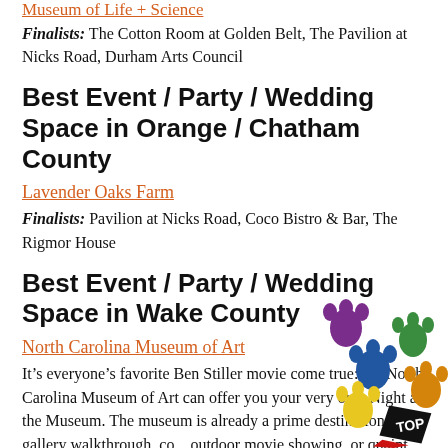Museum of Life + Science
Finalists: The Cotton Room at Golden Belt, The Pavilion at Nicks Road, Durham Arts Council
Best Event / Party / Wedding Space in Orange / Chatham County
Lavender Oaks Farm
Finalists: Pavilion at Nicks Road, Coco Bistro & Bar, The Rigmor House
Best Event / Party / Wedding Space in Wake County
North Carolina Museum of Art
It’s everyone’s favorite Ben Stiller movie come true: the North Carolina Museum of Art can offer you your very own Night at the Museum. The museum is already a prime destination for a gallery walkthrough, co... outdoor movie showing, or quaint picnic... why not consider it for a major event or party?
[Figure (illustration): Colorful paw print decorations and a black diamond TOP badge overlay in the bottom-right corner of the page]